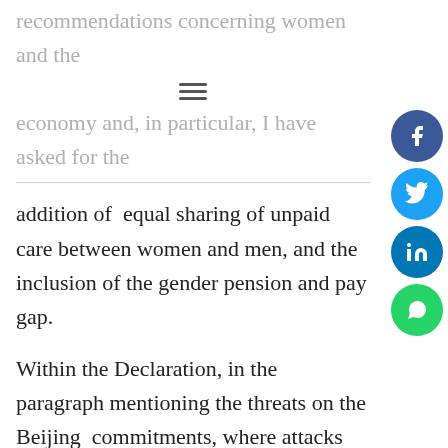recommendations concerning women and the economy and, in particular, I have asked for the
addition of  equal sharing of unpaid care between women and men, and the inclusion of the gender pension and pay gap.

Within the Declaration, in the paragraph mentioning the threats on the Beijing  commitments, where attacks on sexual rights are mentioned, I proposed that there should be a stronger emphasis on the persistence and scale of all forms,and new forms, of violence against women, as follows:  In the 21st century women and girls continue to fear and face male violence and see new forms of violence and abuse being used against them and legitimized by the system.  This includes violence in the name of